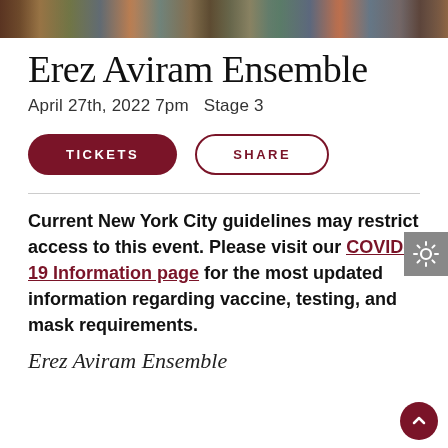[Figure (photo): Colorful photo strip showing musicians/performers, used as a decorative header image]
Erez Aviram Ensemble
April 27th, 2022 7pm  Stage 3
TICKETS  SHARE
Current New York City guidelines may restrict access to this event. Please visit our COVID-19 Information page for the most updated information regarding vaccine, testing, and mask requirements.
Erez Aviram Ensemble